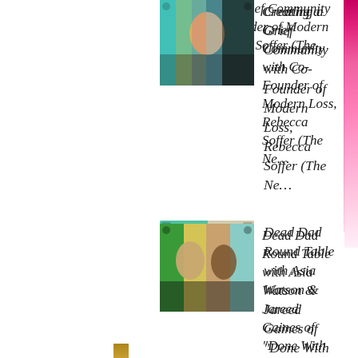Creating a Grief Community with Co-Founder of Modern Loss, Rebecca Soffer (The Ne…
Dead Dad Round Table with Asia Watson & Jareed Gaines of "Done With Adulting"
The Power of Mentoring Grieving Girls with Ann Marie Leitao (empowerHER, Dir. of…
BTS of Hospice & Losing Your Parents with Beth Cavenaugh, Author & RN (Some Light at…